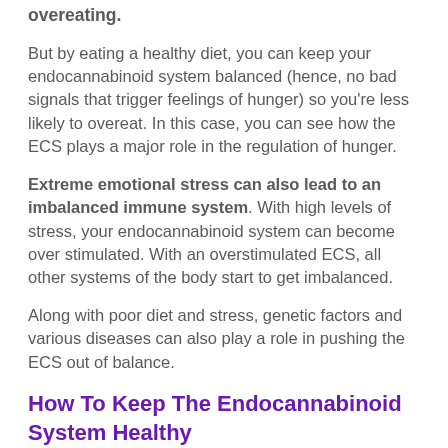overeating.
But by eating a healthy diet, you can keep your endocannabinoid system balanced (hence, no bad signals that trigger feelings of hunger) so you're less likely to overeat. In this case, you can see how the ECS plays a major role in the regulation of hunger.
Extreme emotional stress can also lead to an imbalanced immune system. With high levels of stress, your endocannabinoid system can become over stimulated. With an overstimulated ECS, all other systems of the body start to get imbalanced.
Along with poor diet and stress, genetic factors and various diseases can also play a role in pushing the ECS out of balance.
How To Keep The Endocannabinoid System Healthy